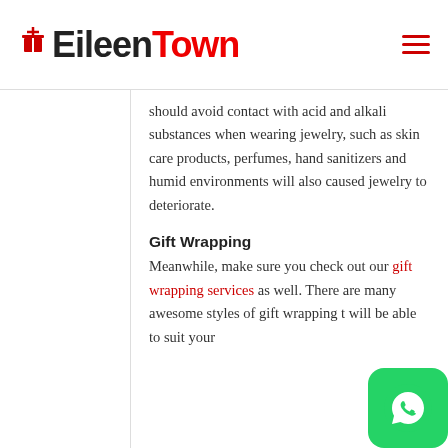EileenTown
should avoid contact with acid and alkali substances when wearing jewelry, such as skin care products, perfumes, hand sanitizers and humid environments will also caused jewelry to deteriorate.
Gift Wrapping
Meanwhile, make sure you check out our gift wrapping services as well. There are many awesome styles of gift wrapping t will be able to suit your